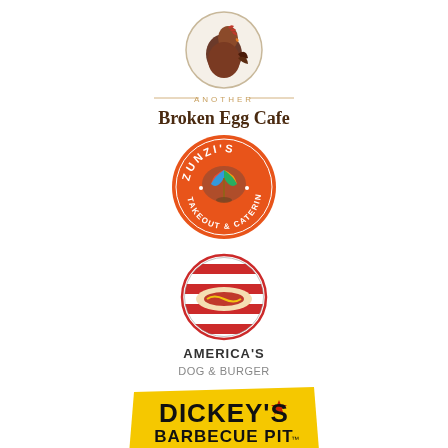[Figure (logo): Another Broken Egg Cafe logo — circular emblem with a rooster/chicken, with text 'ANOTHER Broken Egg Cafe.' in brown/orange serif font]
[Figure (logo): Zunzi's Takeout & Catering logo — orange circle with white text 'ZUNZI'S' and a colorful beach umbrella illustration]
[Figure (logo): America's Dog & Burger logo — circular red/white/grey emblem with hot dog illustration, text 'AMERICA'S DOG & BURGER']
[Figure (logo): Dickey's Barbecue Pit logo — yellow parallelogram/banner shape with bold black text 'DICKEY'S BARBECUE PIT' and a red star]
[Figure (logo): Crave Hot Dogs | Barbecue logo — dark red badge/shield shape with tan/gold trim, 'CRAVE' in large white letters, 'HOT DOGS | BARBECUE' below]
[Figure (logo): Partial logo at bottom — green circular logo with 'The' text, partially cut off]